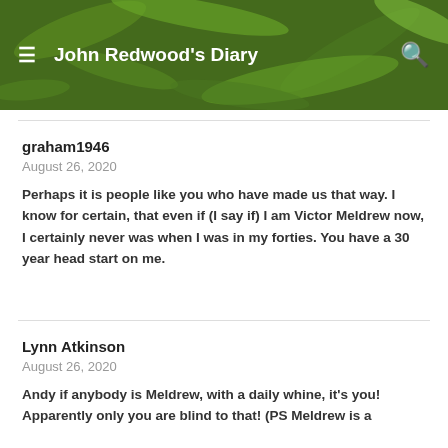John Redwood's Diary
graham1946
August 26, 2020
Perhaps it is people like you who have made us that way. I know for certain, that even if (I say if) I am Victor Meldrew now, I certainly never was when I was in my forties. You have a 30 year head start on me.
Lynn Atkinson
August 26, 2020
Andy if anybody is Meldrew, with a daily whine, it's you! Apparently only you are blind to that! (PS Meldrew is a